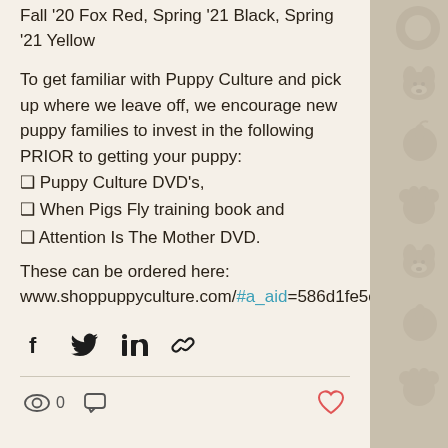Fall '20 Fox Red, Spring '21 Black, Spring '21 Yellow
To get familiar with Puppy Culture and pick up where we leave off, we encourage new puppy families to invest in the following PRIOR to getting your puppy:
❑ Puppy Culture DVD's,
❑ When Pigs Fly training book and
❑ Attention Is The Mother DVD.
These can be ordered here: www.shoppuppyculture.com/#a_aid=586d1fe5c07f4
[Figure (infographic): Social share icons: Facebook, Twitter, LinkedIn, link/copy]
[Figure (infographic): Post stats bar: eye/views icon showing 0, comment icon, heart/like icon (outlined red)]